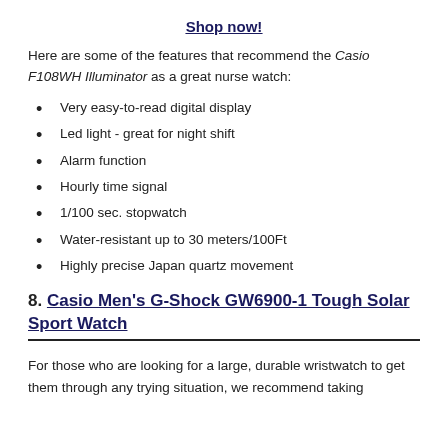Shop now!
Here are some of the features that recommend the Casio F108WH Illuminator as a great nurse watch:
Very easy-to-read digital display
Led light - great for night shift
Alarm function
Hourly time signal
1/100 sec. stopwatch
Water-resistant up to 30 meters/100Ft
Highly precise Japan quartz movement
8. Casio Men's G-Shock GW6900-1 Tough Solar Sport Watch
For those who are looking for a large, durable wristwatch to get them through any trying situation, we recommend taking